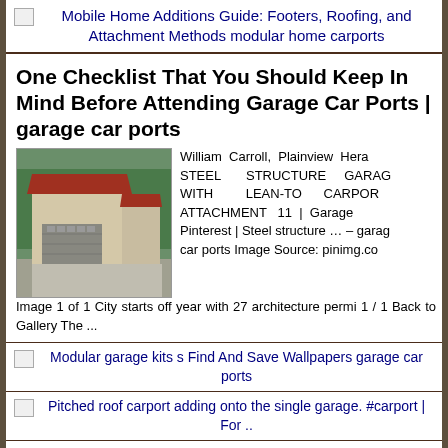[Figure (other): Broken image icon followed by link text: Mobile Home Additions Guide: Footers, Roofing, and Attachment Methods modular home carports]
One Checklist That You Should Keep In Mind Before Attending Garage Car Ports | garage car ports
[Figure (photo): Photo of a steel structure garage with lean-to carport attachment, beige/tan walls and red roof, with garage door visible]
William Carroll, Plainview Herald STEEL STRUCTURE GARAGE WITH LEAN-TO CARPORT ATTACHMENT 11 | Garage Pinterest | Steel structure … – garage car ports Image Source: pinimg.com Image 1 of 1 City starts off year with 27 architecture permits 1 / 1 Back to Gallery The ...
[Figure (other): Broken image icon followed by link text: Modular garage kits s Find And Save Wallpapers garage car ports]
[Figure (other): Broken image icon followed by link text: Pitched roof carport adding onto the single garage. #carport | For ..]
[Figure (other): Broken image icon — partial text cut off at bottom]